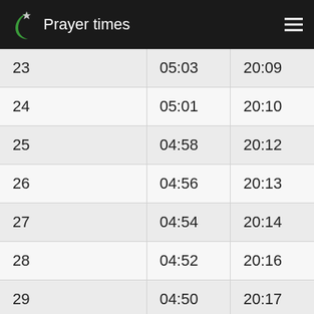Prayer times
| 23 | 05:03 | 20:09 |
| 24 | 05:01 | 20:10 |
| 25 | 04:58 | 20:12 |
| 26 | 04:56 | 20:13 |
| 27 | 04:54 | 20:14 |
| 28 | 04:52 | 20:16 |
| 29 | 04:50 | 20:17 |
| 30 | 04:48 | 20:18 |